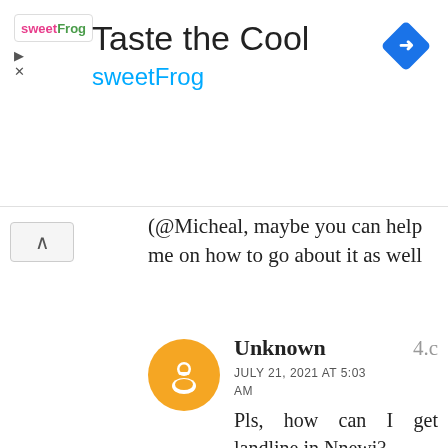[Figure (screenshot): Ad banner for sweetFrog with logo, title 'Taste the Cool', subtitle 'sweetFrog', navigation icon, play and close controls]
@Micheal, maybe you can help me on how to go about it as well
Unknown
JULY 21, 2021 AT 5:03 AM
Pls, how can I get landline in Nnewi?
4.c
Unknown
JULY 12, 2016 AT 1:04 PM
please, i want to get a landline
5